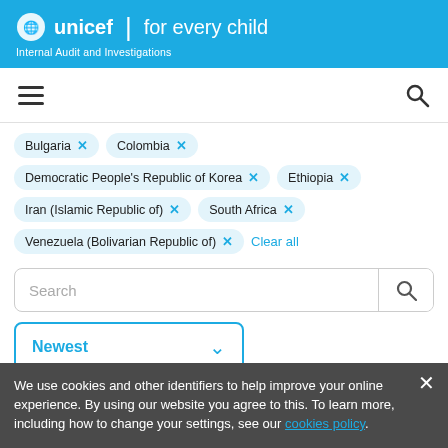unicef for every child — Internal Audit and Investigations
[Figure (screenshot): Hamburger menu icon and search icon navigation bar]
Bulgaria × Colombia × Democratic People's Republic of Korea × Ethiopia × Iran (Islamic Republic of) × South Africa × Venezuela (Bolivarian Republic of) × Clear all
Search
Newest
Location | 7 selected all | →
We use cookies and other identifiers to help improve your online experience. By using our website you agree to this. To learn more, including how to change your settings, see our cookies policy.